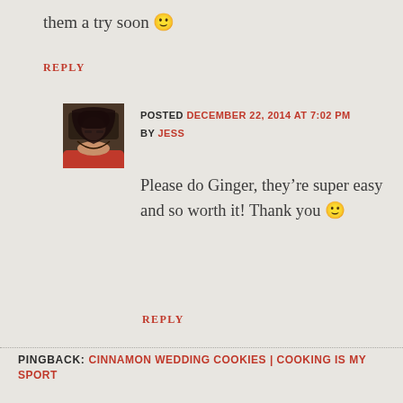them a try soon 🙂
REPLY
POSTED DECEMBER 22, 2014 AT 7:02 PM BY JESS
[Figure (photo): Avatar photo of Jess, a woman with long dark hair and glasses wearing a red top]
Please do Ginger, they're super easy and so worth it! Thank you 🙂
REPLY
PINGBACK: CINNAMON WEDDING COOKIES | COOKING IS MY SPORT